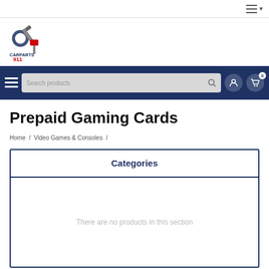≡ ▾
[Figure (logo): CarParts911 logo with engine parts imagery]
[Figure (screenshot): Navigation bar with hamburger menu, search box, user icon and cart icon with badge 0]
Prepaid Gaming Cards
Home / Video Games & Consoles /
Categories
There are no products in this section